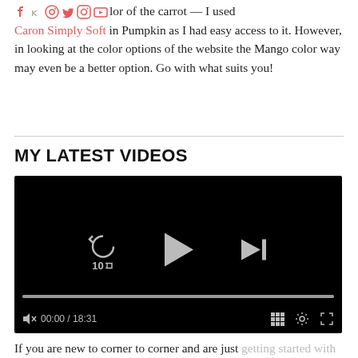[social icons] olor of the carrot — I used Caron Simply Soft in Pumpkin as I had easy access to it. However, in looking at the color options of the website the Mango color way may even be a better option. Go with what suits you!
MY LATEST VIDEOS
[Figure (screenshot): Embedded video player with black background showing playback controls: rewind 10s button, play button, skip to next button, progress bar, mute button, time display 00:00 / 18:31, grid/chapters button, settings button, and fullscreen button.]
If you are new to corner to corner and are just getting started with this blanket I have several tutorials which will help get you up to speed! Just